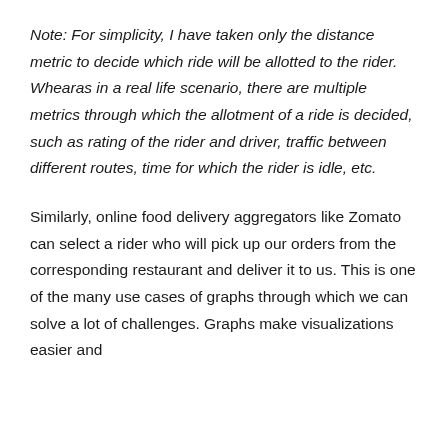Note: For simplicity, I have taken only the distance metric to decide which ride will be allotted to the rider. Whearas in a real life scenario, there are multiple metrics through which the allotment of a ride is decided, such as rating of the rider and driver, traffic between different routes, time for which the rider is idle, etc.
Similarly, online food delivery aggregators like Zomato can select a rider who will pick up our orders from the corresponding restaurant and deliver it to us. This is one of the many use cases of graphs through which we can solve a lot of challenges. Graphs make visualizations easier and